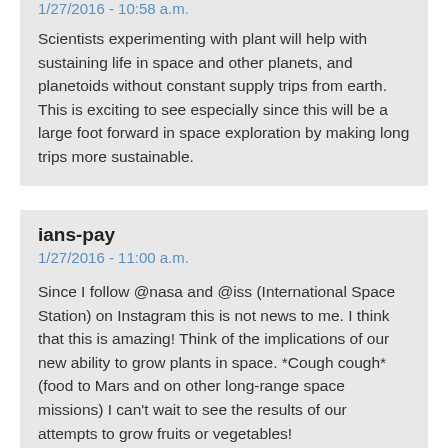1/27/2016 - 10:58 a.m.
Scientists experimenting with plant will help with sustaining life in space and other planets, and planetoids without constant supply trips from earth. This is exciting to see especially since this will be a large foot forward in space exploration by making long trips more sustainable.
ians-pay
1/27/2016 - 11:00 a.m.
Since I follow @nasa and @iss (International Space Station) on Instagram this is not news to me. I think that this is amazing! Think of the implications of our new ability to grow plants in space. *Cough cough* (food to Mars and on other long-range space missions) I can't wait to see the results of our attempts to grow fruits or vegetables!